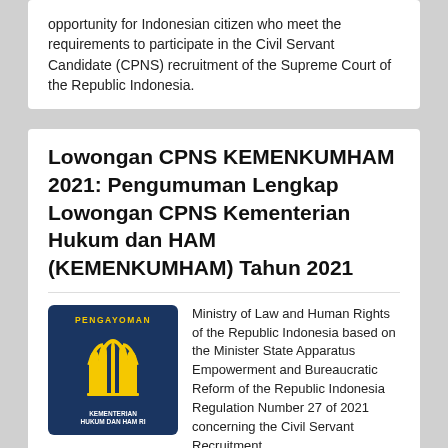opportunity for Indonesian citizen who meet the requirements to participate in the Civil Servant Candidate (CPNS) recruitment of the Supreme Court of the Republic Indonesia.
Lowongan CPNS KEMENKUMHAM 2021: Pengumuman Lengkap Lowongan CPNS Kementerian Hukum dan HAM (KEMENKUMHAM) Tahun 2021
[Figure (logo): PENGAYOMAN - Kementerian Hukum dan HAM RI logo: dark navy blue box with gold stylized tree/arch symbol, PENGAYOMAN text at top in gold, KEMENTERIAN HUKUM DAN HAM RI text at bottom in white.]
Ministry of Law and Human Rights of the Republic Indonesia based on the Minister State Apparatus Empowerment and Bureaucratic Reform of the Republic Indonesia Regulation Number 27 of 2021 concerning the Civil Servant Recruitment and the Minister State Apparatus Empowerment and Bureaucratic Reform Decree Number 716 of 2021 concerning State Civil Apparatus Needs Determination within the Ministry of Law and Human Rights for Fiscal Year 2021, we are opening